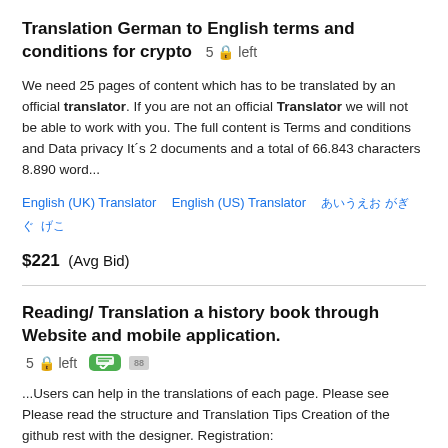Translation German to English terms and conditions for crypto  5 🔒 left
We need 25 pages of content which has to be translated by an official translator. If you are not an official Translator we will not be able to work with you. The full content is Terms and conditions and Data privacy It´s 2 documents and a total of 66.843 characters 8.890 word...
English (UK) Translator   English (US) Translator   [garbled text]
$221  (Avg Bid)
Reading/ Translation a history book through Website and mobile application.  5 🔒 left
...Users can help in the translations of each page. Please see Please read the structure and Translation Tips Creation of the github rest with the designer. Registration: